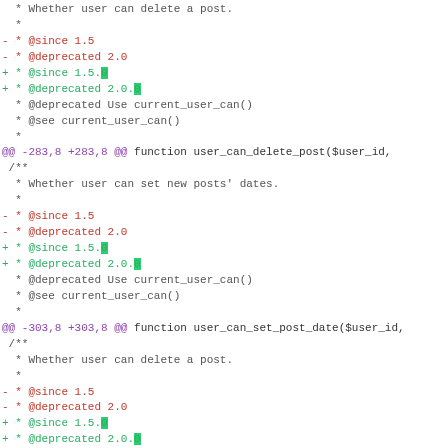* Whether user can delete a post.
  *
- * @since 1.5
- * @deprecated 2.0
+ * @since 1.5.0
+ * @deprecated 2.0.0
  * @deprecated Use current_user_can()
  * @see current_user_can()
  *
@@ -283,8 +283,8 @@ function user_can_delete_post($user_id,
 /**
  * Whether user can set new posts' dates.
  *
- * @since 1.5
- * @deprecated 2.0
+ * @since 1.5.0
+ * @deprecated 2.0.0
  * @deprecated Use current_user_can()
  * @see current_user_can()
  *
@@ -303,8 +303,8 @@ function user_can_set_post_date($user_id,
 /**
  * Whether user can delete a post.
  *
- * @since 1.5
- * @deprecated 2.0
+ * @since 1.5.0
+ * @deprecated 2.0.0
  * @deprecated Use current_user_can()
  * @see current_user_can()
  *